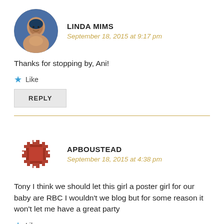[Figure (photo): Circular avatar photo of Linda Mims, a smiling woman]
LINDA MIMS
September 18, 2015 at 9:17 pm
Thanks for stopping by, Ani!
★ Like
REPLY
[Figure (illustration): Circular decorative avatar with brown/red geometric pattern for APBOUSTEAD]
APBOUSTEAD
September 18, 2015 at 4:38 pm
Tony I think we should let this girl a poster girl for our baby are RBC I wouldn't we blog but for some reason it won't let me have a great party
★ Like